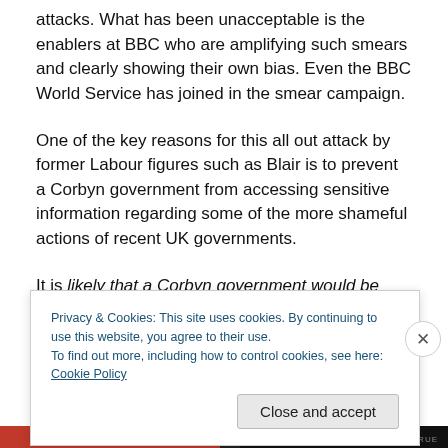attacks. What has been unacceptable is the enablers at BBC who are amplifying such smears and clearly showing their own bias. Even the BBC World Service has joined in the smear campaign.
One of the key reasons for this all out attack by former Labour figures such as Blair is to prevent a Corbyn government from accessing sensitive information regarding some of the more shameful actions of recent UK governments.
It is likely that a Corbyn government would be more
Privacy & Cookies: This site uses cookies. By continuing to use this website, you agree to their use.
To find out more, including how to control cookies, see here: Cookie Policy
Close and accept